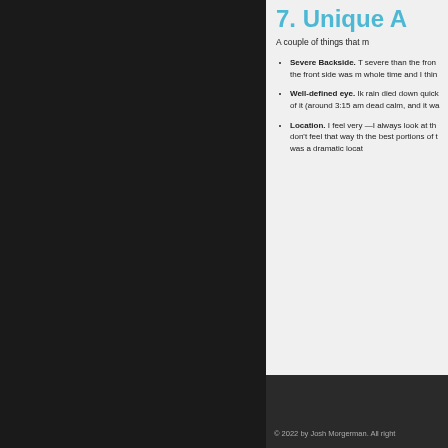7. Unique A
A couple of things that m
Severe Backside. T severe than the fron the front side was m whole time and I thin
Well-defined eye. Ik rain died down quick of it (around 3:15 am dead calm, and it wa
Location. I feel very —I always look at th don't feel that way th the best portions of t was a dramatic locat
© 2022 by Josh Morgerman. All right